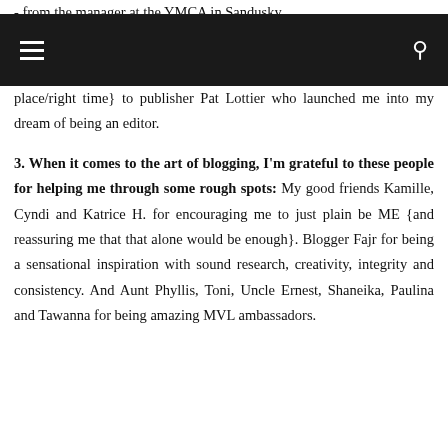- from the manager at the YMCA in Sandusky, place/right time} to publisher Pat Lottier who launched me into my dream of being an editor.
Navigation bar with menu and search icons
3. When it comes to the art of blogging, I'm grateful to these people for helping me through some rough spots: My good friends Kamille, Cyndi and Katrice H. for encouraging me to just plain be ME {and reassuring me that that alone would be enough}. Blogger Fajr for being a sensational inspiration with sound research, creativity, integrity and consistency. And Aunt Phyllis, Toni, Uncle Ernest, Shaneika, Paulina and Tawanna for being amazing MVL ambassadors.